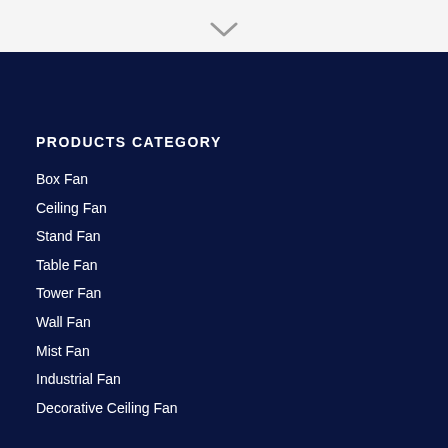PRODUCTS CATEGORY
Box Fan
Ceiling Fan
Stand Fan
Table Fan
Tower Fan
Wall Fan
Mist Fan
Industrial Fan
Decorative Ceiling Fan